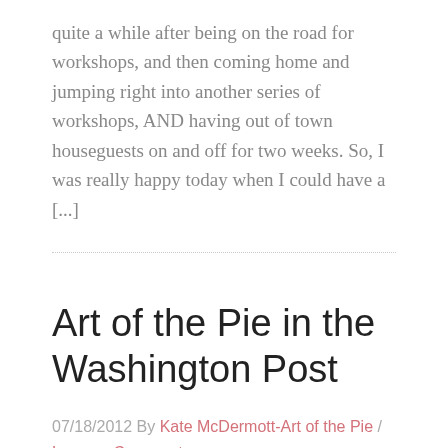quite a while after being on the road for workshops, and then coming home and jumping right into another series of workshops, AND having out of town houseguests on and off for two weeks. So, I was really happy today when I could have a [...]
Art of the Pie in the Washington Post
07/18/2012 By Kate McDermott-Art of the Pie / Leave a Comment